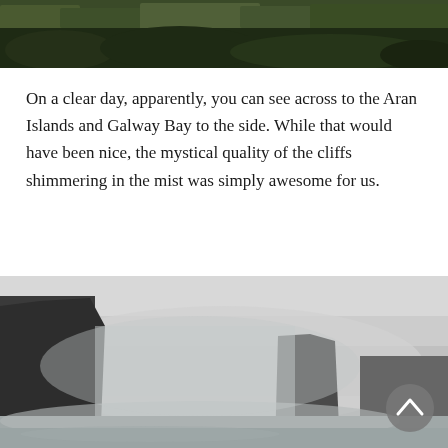[Figure (photo): Top portion of a cliff landscape photo showing green grass/vegetation at the top of cliffs, cropped at top of page]
On a clear day, apparently, you can see across to the Aran Islands and Galway Bay to the side. While that would have been nice, the mystical quality of the cliffs shimmering in the mist was simply awesome for us.
[Figure (photo): Photo of the Cliffs of Moher shrouded in mist, showing dramatic dark cliff faces rising from a misty, foggy background with a scroll-to-top button overlay]